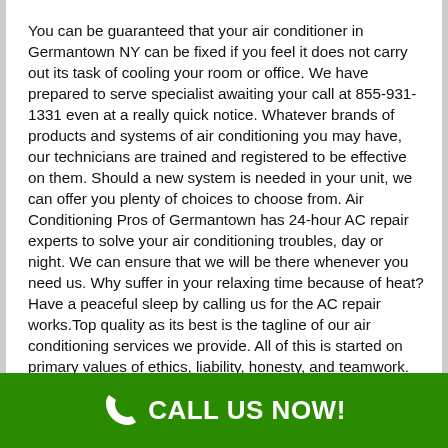You can be guaranteed that your air conditioner in Germantown NY can be fixed if you feel it does not carry out its task of cooling your room or office. We have prepared to serve specialist awaiting your call at 855-931-1331 even at a really quick notice. Whatever brands of products and systems of air conditioning you may have, our technicians are trained and registered to be effective on them. Should a new system is needed in your unit, we can offer you plenty of choices to choose from. Air Conditioning Pros of Germantown has 24-hour AC repair experts to solve your air conditioning troubles, day or night. We can ensure that we will be there whenever you need us. Why suffer in your relaxing time because of heat? Have a peaceful sleep by calling us for the AC repair works.Top quality as its best is the tagline of our air conditioning services we provide. All of this is started on primary values of ethics, liability, honesty, and teamwork. At the Germantown NY home, our AC repair technicians will orient you the price estimates at no cost before
CALL US NOW!